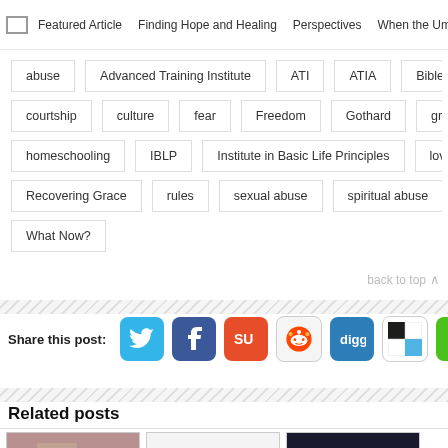Featured Article  Finding Hope and Healing  Perspectives  When the Umbr...
abuse
Advanced Training Institute
ATI
ATIA
Bible
courtship
culture
fear
Freedom
Gothard
grace
homeschooling
IBLP
Institute in Basic Life Principles
love
Recovering Grace
rules
sexual abuse
spiritual abuse
s...
What Now?
back to top ∧
Share this post:
[Figure (screenshot): Social share icons: Twitter, Facebook, StumbleUpon, Reddit, Digg, ShareThis, iMessage]
Related posts
[Figure (photo): Three related post thumbnails with comment counts: 0, 186, 14+]
Related post thumbnails — 0, 186, 14